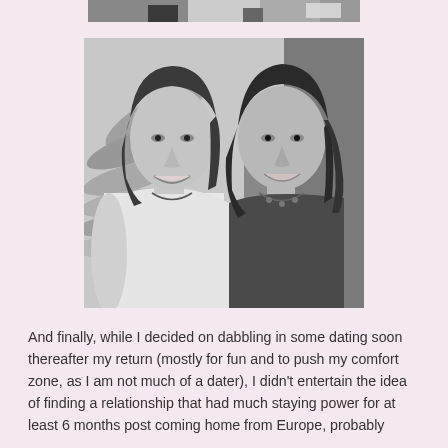[Figure (photo): Partial view of a cropped photo at the top of the page showing people, black and white]
[Figure (photo): Black and white selfie photo of two smiling women with dark hair, one in a white tank top and one in a dark top with a necklace, with a large leaf plant in the background]
And finally, while I decided on dabbling in some dating soon thereafter my return (mostly for fun and to push my comfort zone, as I am not much of a dater), I didn't entertain the idea of finding a relationship that had much staying power for at least 6 months post coming home from Europe, probably